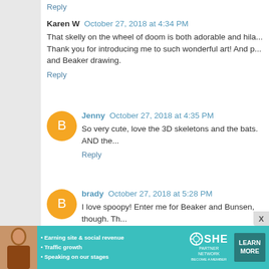Reply
Karen W  October 27, 2018 at 4:34 PM
That skelly on the wheel of doom is both adorable and hila... Thank you for introducing me to such wonderful art! And p... and Beaker drawing.
Reply
Jenny  October 27, 2018 at 4:35 PM
So very cute, love the 3D skeletons and the bats. AND the...
Reply
brady  October 27, 2018 at 5:28 PM
I love spoopy! Enter me for Beaker and Bunsen, though. Th...
Reply
Vicki L.  October 27, 2018 at 5:59 PM
[Figure (infographic): SHE Partner Network advertisement banner with a woman photo, bullet points about earning site, traffic growth, speaking on stages, SHE logo, and Learn More button]